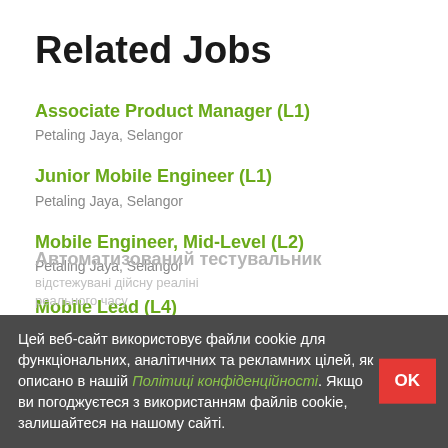Related Jobs
Associate Product Manager (L1)
Petaling Jaya, Selangor
Junior Mobile Engineer (L1)
Petaling Jaya, Selangor
Mobile Engineer, Mid-Level (L2)
Petaling Jaya, Selangor
Mobile Lead (L4)
Petaling Jaya, Selangor
Цей веб-сайт використовує файли cookie для функціональних, аналітичних та рекламних цілей, як описано в нашій Політиці конфіденційності. Якщо ви погоджуєтеся з використанням файлів cookie, залишайтеся на нашому сайті.